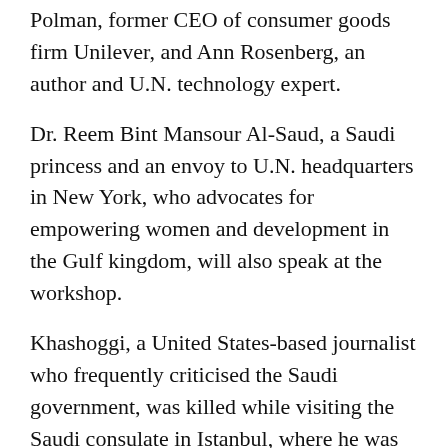Polman, former CEO of consumer goods firm Unilever, and Ann Rosenberg, an author and U.N. technology expert.
Dr. Reem Bint Mansour Al-Saud, a Saudi princess and an envoy to U.N. headquarters in New York, who advocates for empowering women and development in the Gulf kingdom, will also speak at the workshop.
Khashoggi, a United States-based journalist who frequently criticised the Saudi government, was killed while visiting the Saudi consulate in Istanbul, where he was collecting papers for his wedding.
U.N. expert Agnes Callamard issued a report in June that described the assassination as a “deliberate, premeditated execution,” and called for MBS and other Saudi officials to be probed.